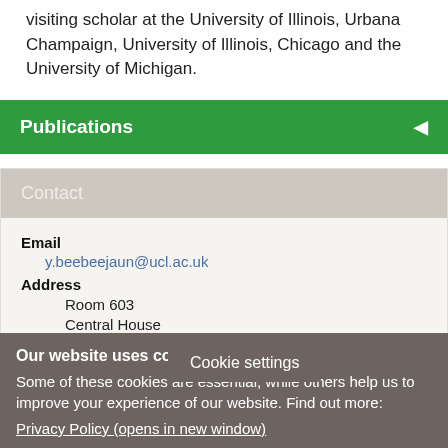visiting scholar at the University of Illinois, Urbana Champaign, University of Illinois, Chicago and the University of Michigan.
Publications
Contact
Email
y.beebeejaun@ucl.ac.uk
Address
Room 603
Central House
Cookie settings
Our website uses cookies
Some of these cookies are essential, while others help us to improve your experience of our website. Find out more:
Privacy Policy (opens in new window)